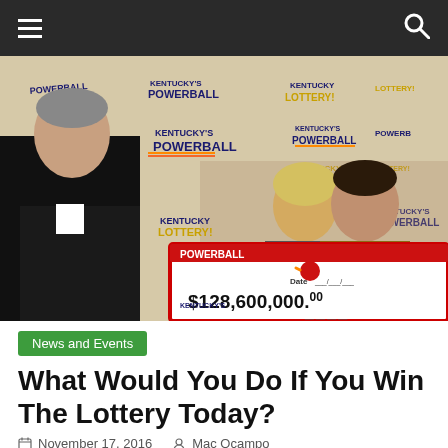[Figure (photo): A couple holding a large Powerball lottery check for $128,600,000 in front of a Kentucky Lottery / Powerball backdrop, with another man in the foreground.]
News and Events
What Would You Do If You Win The Lottery Today?
November 17, 2016   Mac Ocampo
Steve Tran is a delivery driver from San Jose, California.